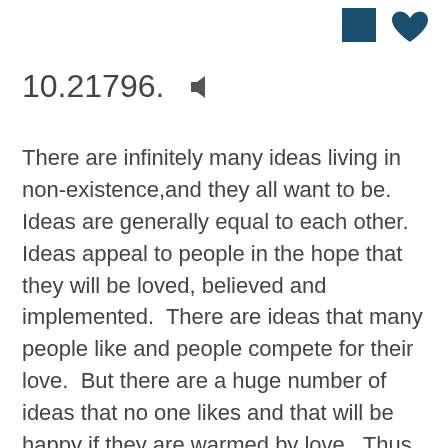[Figure (other): Two dark teal icons in the top-right corner: a filled square and a filled heart shape]
10.21796.
There are infinitely many ideas living in non-existence,and they all want to be.  Ideas are generally equal to each other.  Ideas appeal to people in the hope that they will be loved, believed and implemented.  There are ideas that many people like and people compete for their love.  But there are a huge number of ideas that no one likes and that will be happy if they are warmed by love.  Thus, the more unique and strange your idea is, the more chances you have to implement it in reality, and the more